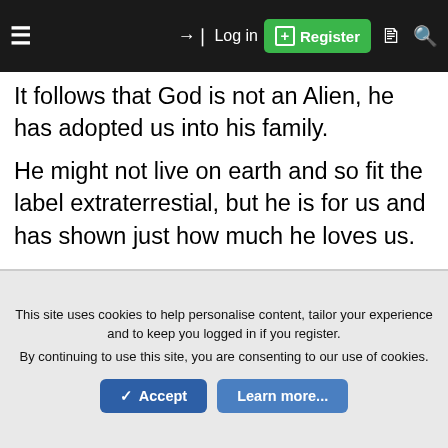≡  →) Log in  [+] Register  🗋  🔍
It follows that God is not an Alien, he has adopted us into his family.
He might not live on earth and so fit the label extraterrestial, but he is for us and has shown just how much he loves us.

Demons show just how much they don't care about us.
This site uses cookies to help personalise content, tailor your experience and to keep you logged in if you register.
By continuing to use this site, you are consenting to our use of cookies.